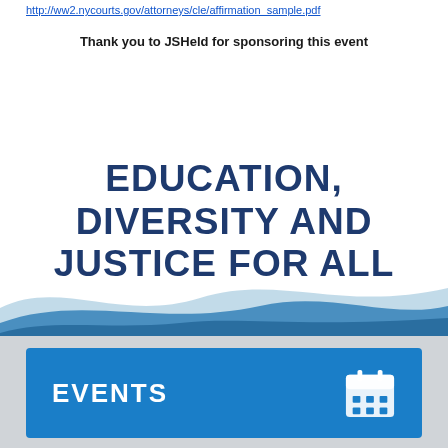http://ww2.nycourts.gov/attorneys/cle/affirmation_sample.pdf
Thank you to JSHeld for sponsoring this event
EDUCATION, DIVERSITY AND JUSTICE FOR ALL
[Figure (illustration): Decorative wave graphic in blue and light blue tones at the bottom of the page above a gray footer bar]
EVENTS